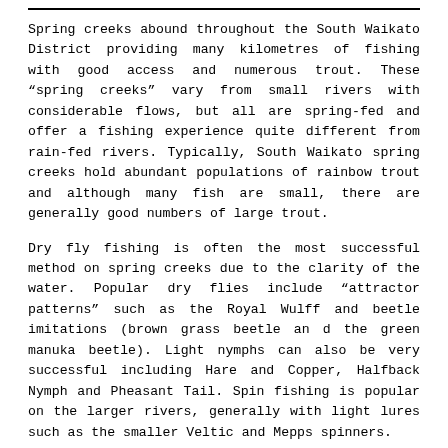Spring creeks abound throughout the South Waikato District providing many kilometres of fishing with good access and numerous trout. These “spring creeks” vary from small rivers with considerable flows, but all are spring-fed and offer a fishing experience quite different from rain-fed rivers. Typically, South Waikato spring creeks hold abundant populations of rainbow trout and although many fish are small, there are generally good numbers of large trout.
Dry fly fishing is often the most successful method on spring creeks due to the clarity of the water. Popular dry flies include “attractor patterns” such as the Royal Wulff and beetle imitations (brown grass beetle an d the green manuka beetle). Light nymphs can also be very successful including Hare and Copper, Halfback Nymph and Pheasant Tail. Spin fishing is popular on the larger rivers, generally with light lures such as the smaller Veltic and Mepps spinners.
The Waihou and Waimakariri Stream are open to anglers all year, the other waters are closed during the winter spawning